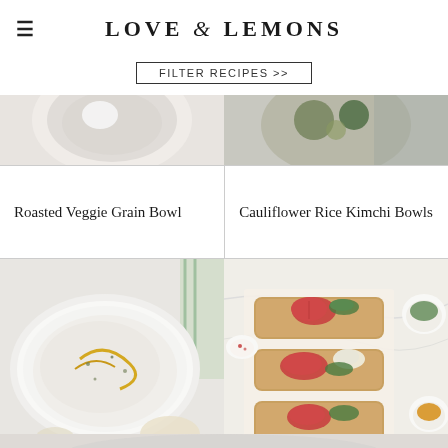LOVE & LEMONS
FILTER RECIPES >>
[Figure (photo): Top-left partial food photo showing a bowl dish, cropped]
[Figure (photo): Top-right partial food photo showing a grain bowl with greens, cropped]
Roasted Veggie Grain Bowl
Cauliflower Rice Kimchi Bowls
[Figure (photo): Bottom-left photo of white bean dip or hummus in a white bowl with olive oil drizzle]
[Figure (photo): Bottom-right photo of open-faced toast sandwiches topped with tomatoes, greens, and sauces on a marble board]